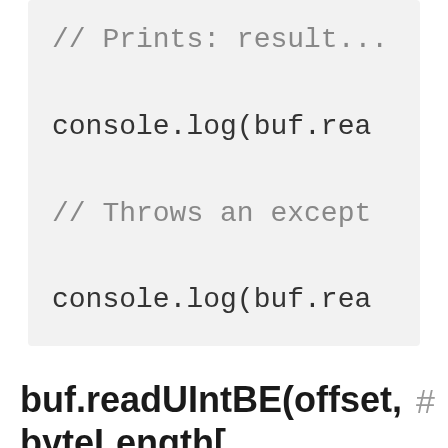// Prints: result...
console.log(buf.rea

// Throws an except
console.log(buf.rea
buf.readUIntBE(offset,     #
byteLength[, noAssert])